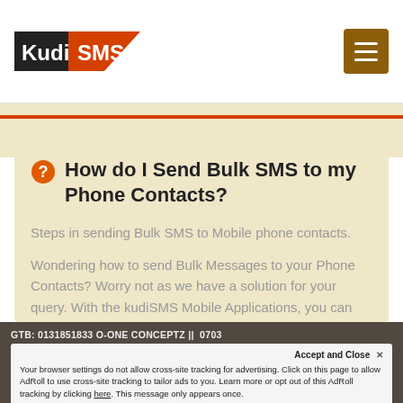KudiSMS
How do I Send Bulk SMS to my Phone Contacts?
Steps in sending Bulk SMS to Mobile phone contacts.
Wondering how to send Bulk Messages to your Phone Contacts? Worry not as we have a solution for your query. With the kudiSMS Mobile Applications, you can send Bulk SMS to contacts stored on your Mobile Phone.
GTB: 0131851833 O-ONE CONCEPTZ || 0703... Accept and Close. Your browser settings do not allow cross-site tracking for advertising. Click on this page to allow AdRoll to use cross-site tracking to tailor ads to you. Learn more or opt out of this AdRoll tracking by clicking here. This message only appears once.